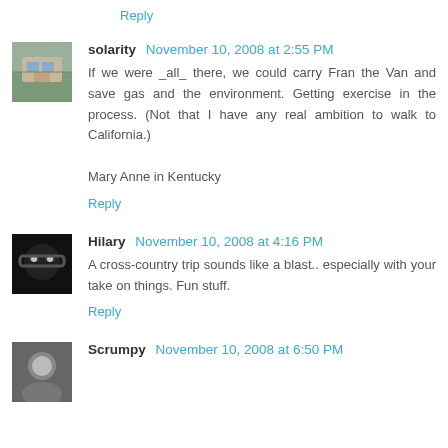Reply
solarity November 10, 2008 at 2:55 PM
If we were _all_ there, we could carry Fran the Van and save gas and the environment. Getting exercise in the process. (Not that I have any real ambition to walk to California.)

Mary Anne in Kentucky
Reply
Hilary November 10, 2008 at 4:16 PM
A cross-country trip sounds like a blast.. especially with your take on things. Fun stuff.
Reply
Scrumpy November 10, 2008 at 6:50 PM